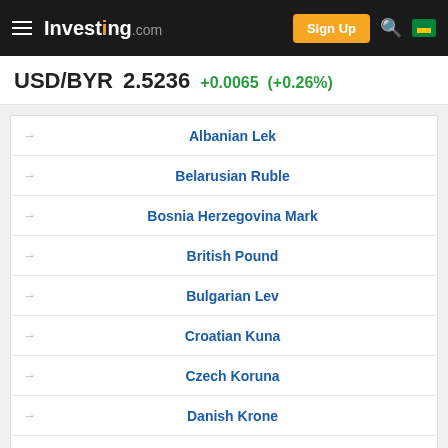Investing.com — Sign Up
USD/BYR 2.5236 +0.0065 (+0.26%)
Albanian Lek
Belarusian Ruble
Bosnia Herzegovina Mark
British Pound
Bulgarian Lev
Croatian Kuna
Czech Koruna
Danish Krone
Euro
ADVERTISEMENT
USD/BYN Discussions